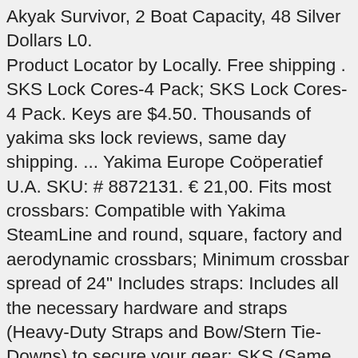Akyak Survivor, 2 Boat Capacity, 48 Silver Dollars L0. Product Locator by Locally. Free shipping . SKS Lock Cores-4 Pack; SKS Lock Cores-4 Pack. Keys are $4.50. Thousands of yakima sks lock reviews, same day shipping. ... Yakima Europe Coöperatief U.A. SKU: # 8872131. € 21,00. Fits most crossbars: Compatible with Yakima SteamLine and round, square, factory and aerodynamic crossbars; Minimum crossbar spread of 24" Includes straps: Includes all the necessary hardware and straps (Heavy-Duty Straps and Bow/Stern Tie-Downs) to secure your gear; SKS (Same Key System) locks ... Seller assumes all responsibility for this listing. These 12 cores enable you to lock all of your Yakima products with just one key. Truck Upfitters' NEW Yakima Streamline Rack Kit for track mounted racks - 4 Skyline Towers, 4 Landing Pads #1, 4 SKS Core Locks & 2 Keys. Shipped with USPS First Class. SKS stands for "same key system." These 10 cores enable you to lock all of your Yakima products with just